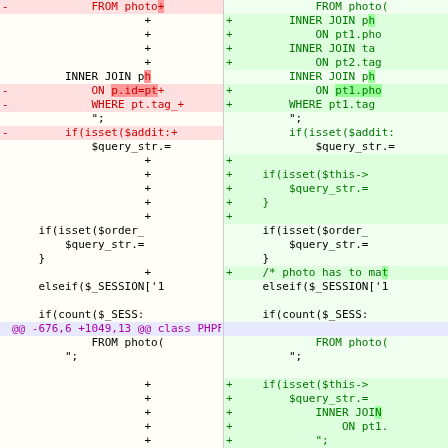[Figure (screenshot): Side-by-side diff view of PHP code showing removed lines (red, left pane) and added lines (green, right pane), with a hunk header '@@ -676,6 +1049,13 @@ class PHPFSPOT {' in purple.]